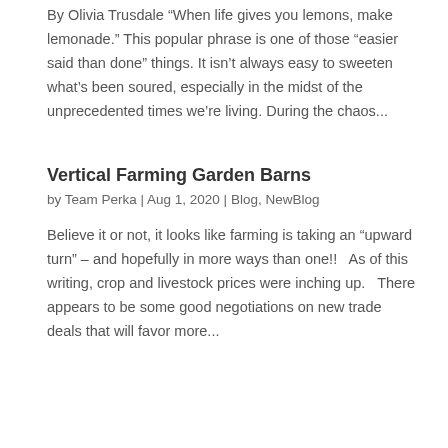By Olivia Trusdale “When life gives you lemons, make lemonade.” This popular phrase is one of those “easier said than done” things. It isn’t always easy to sweeten what’s been soured, especially in the midst of the unprecedented times we’re living. During the chaos...
Vertical Farming Garden Barns
by Team Perka | Aug 1, 2020 | Blog, NewBlog
Believe it or not, it looks like farming is taking an “upward turn” – and hopefully in more ways than one!!   As of this writing, crop and livestock prices were inching up.   There appears to be some good negotiations on new trade deals that will favor more...